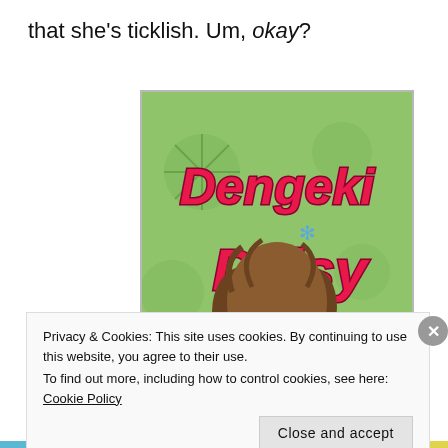that she's ticklish. Um, okay?
[Figure (illustration): Manga book cover for 'Dengeki Daisy' showing stylized anime characters — a brown-haired male character in profile and a female character with reddish-brown hair, surrounded by blue daisy flowers on a green background. The title 'Dengeki Daisy' is displayed in large pink/red stylized lettering with a blue snowflake/daisy star between the two words.]
Privacy & Cookies: This site uses cookies. By continuing to use this website, you agree to their use.
To find out more, including how to control cookies, see here: Cookie Policy
Close and accept